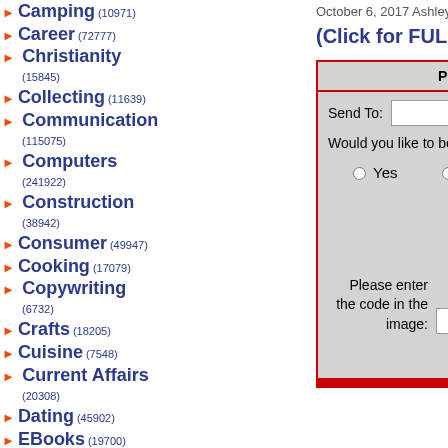Camping (10971)
Career (72777)
Christianity (15845)
Collecting (11639)
Communication (115075)
Computers (241922)
Construction (38942)
Consumer (49947)
Cooking (17079)
Copywriting (6732)
Crafts (18205)
Cuisine (7548)
Current Affairs (20308)
Dating (45902)
EBooks (19700)
E-Commerce (48248)
Education (185377)
Electronics (83517)
Email (6439)
Entertainment (159838)
Environment (28924)
October 6, 2017 Ashley J will return ...
(Click for FULL Article)
Please fill out this form - The article above will be sent
Send To:
Would you like to be notified of any new articles submitted by this author - Chip Schutzman?
Yes   No
[Figure (other): CAPTCHA image showing the code 093962]
Please enter the code in the image:
Send